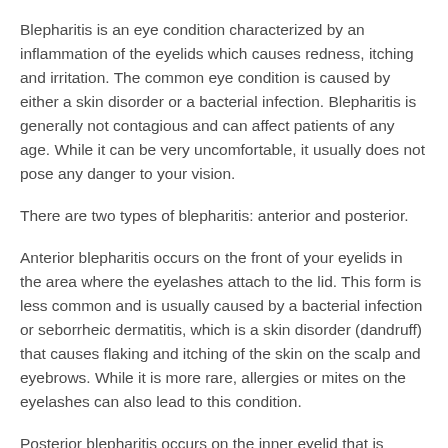Blepharitis is an eye condition characterized by an inflammation of the eyelids which causes redness, itching and irritation. The common eye condition is caused by either a skin disorder or a bacterial infection. Blepharitis is generally not contagious and can affect patients of any age. While it can be very uncomfortable, it usually does not pose any danger to your vision.
There are two types of blepharitis: anterior and posterior.
Anterior blepharitis occurs on the front of your eyelids in the area where the eyelashes attach to the lid. This form is less common and is usually caused by a bacterial infection or seborrheic dermatitis, which is a skin disorder (dandruff) that causes flaking and itching of the skin on the scalp and eyebrows. While it is more rare, allergies or mites on the eyelashes can also lead to this condition.
Posterior blepharitis occurs on the inner eyelid that is